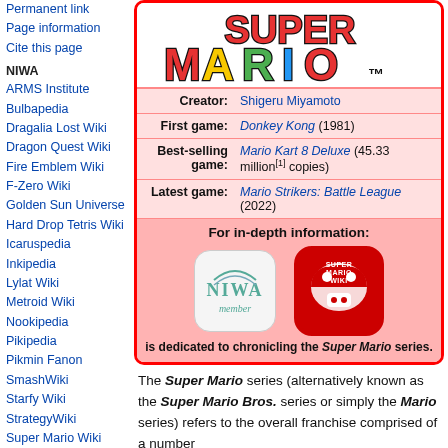Permanent link
Page information
Cite this page
NIWA
ARMS Institute
Bulbapedia
Dragalia Lost Wiki
Dragon Quest Wiki
Fire Emblem Wiki
F-Zero Wiki
Golden Sun Universe
Hard Drop Tetris Wiki
Icaruspedia
Inkipedia
Lylat Wiki
Metroid Wiki
Nookipedia
Pikipedia
Pikmin Fanon
SmashWiki
Starfy Wiki
StrategyWiki
Super Mario Wiki
[Figure (logo): Super Mario series logo with colorful letters]
| Field | Value |
| --- | --- |
| Creator: | Shigeru Miyamoto |
| First game: | Donkey Kong (1981) |
| Best-selling game: | Mario Kart 8 Deluxe (45.33 million[1] copies) |
| Latest game: | Mario Strikers: Battle League (2022) |
[Figure (logo): NIWA member logo and Super Mario Wiki logo with text: is dedicated to chronicling the Super Mario series.]
The Super Mario series (alternatively known as the Super Mario Bros. series or simply the Mario series) refers to the overall franchise comprised of a number